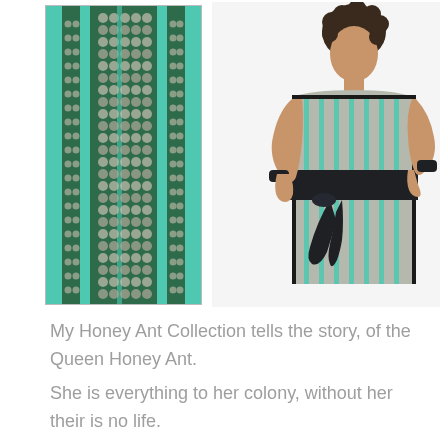[Figure (photo): Fabric swatch showing a woven textile pattern with green and teal stripes, intricate honeycomb/dot motif in green, white, and gray tones, displayed vertically]
[Figure (photo): Woman wearing a strapless fitted dress made from the honey ant fabric — gray and teal vertical stripe pattern, black piping at the bust, black ribbon sash tied at the waist, black cuff bracelets]
My Honey Ant Collection tells the story, of the Queen Honey Ant. She is everything to her colony, without her their is no life.